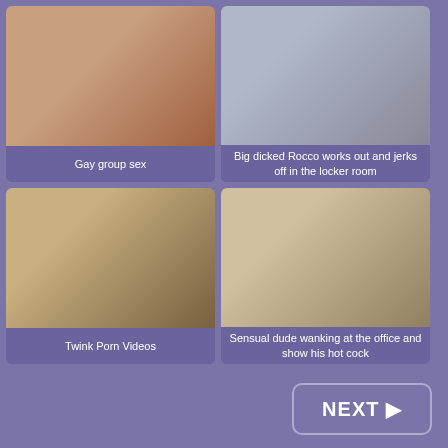[Figure (photo): Top-left video thumbnail showing close-up adult content]
Gay group sex
[Figure (photo): Top-right video thumbnail showing adult male content]
Big dicked Rocco works out and jerks off in the locker room
[Figure (photo): Bottom-left video thumbnail showing adult content on bed]
Twink Porn Videos
[Figure (photo): Bottom-right video thumbnail showing adult content]
Sensual dude wanking at the office and show his hot cock
NEXT ▶